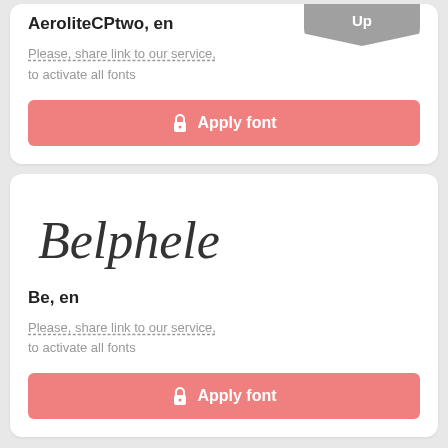AeroliteCPtwo, en
Please, share link to our service, to activate all fonts
Apply font
[Figure (illustration): Cursive script font preview showing 'Belphele' in decorative handwriting style]
Be, en
Please, share link to our service, to activate all fonts
Apply font